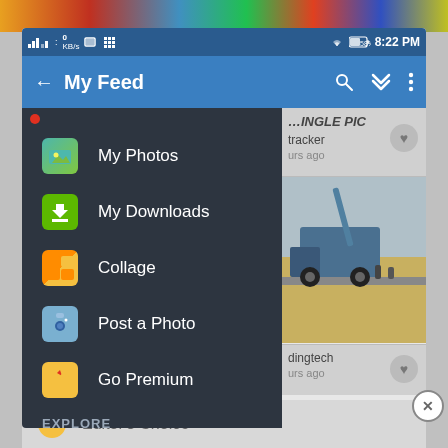[Figure (screenshot): Mobile app screenshot showing a navigation drawer menu on a photo-sharing app called 'My Feed'. The drawer contains menu items: My Photos, My Downloads, Collage, Post a Photo, Go Premium, and an EXPLORE section. The status bar shows 8:22 PM with WiFi and battery icons. The right side shows partially visible content feed with a photo of a truck. At the bottom is an Editor's Choice row.]
My Photos
My Downloads
Collage
Post a Photo
Go Premium
EXPLORE
Editor's Choice